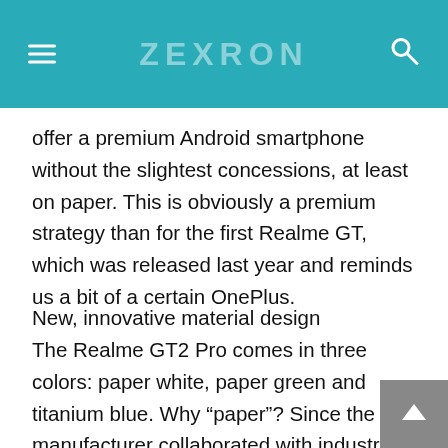ZEXRON
offer a premium Android smartphone without the slightest concessions, at least on paper. This is obviously a premium strategy than for the first Realme GT, which was released last year and reminds us a bit of a certain OnePlus.
New, innovative material design
The Realme GT2 Pro comes in three colors: paper white, paper green and titanium blue. Why “paper”? Since the manufacturer collaborated with industrial designer Naoto Fukasawa on the development of a polymer coating from biological sources based on the concept of paper art”. In particular, after 12 months of research and 63 prototypes, Realme managed to get a shell made of a sustainable composite. ISCC + certified material (which ensures material
This site uses cookies. By continuing to browse the site you are agreeing to our use of cookies Find out more here